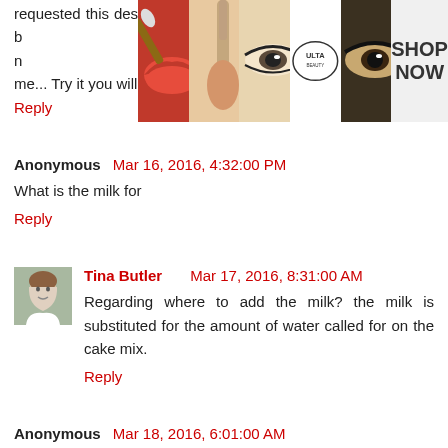requested this dessert for her Birthday cake. The amazing fact b... goodness n... nt proof, that's proof enough for me... Try it you will love it.. Happy Nana :)
[Figure (advertisement): Ulta Beauty advertisement banner showing cosmetic-themed images (lips, makeup brush, eyes) and 'SHOP NOW' text]
Reply
Anonymous  Mar 16, 2016, 4:32:00 PM
What is the milk for
Reply
Tina Butler  Mar 17, 2016, 8:31:00 AM
Regarding where to add the milk? the milk is substituted for the amount of water called for on the cake mix.
Reply
Anonymous  Mar 18, 2016, 6:01:00 AM